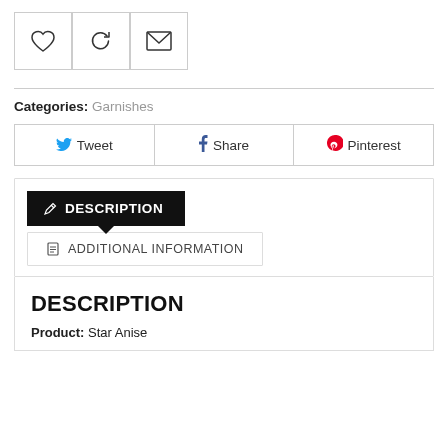[Figure (other): Three icon buttons: heart (wishlist), refresh/compare, and envelope (email)]
Categories: Garnishes
[Figure (other): Social sharing buttons: Tweet (Twitter), Share (Facebook), Pinterest]
DESCRIPTION (active tab)
ADDITIONAL INFORMATION (tab)
DESCRIPTION
Product: Star Anise